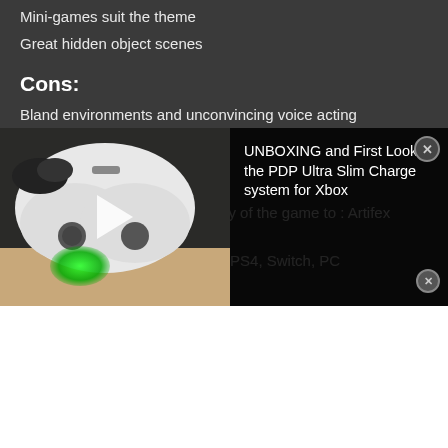Mini-games suit the theme
Great hidden object scenes
Cons:
Bland environments and unconvincing voice acting
Cursor inaccuracies
Info:
Massive thanks for the free copy of the game to : Artifex Mundi
Formats – Xbox One (Review), PS4, Switch, PC
[Figure (screenshot): Video overlay showing a white Xbox controller with green charging light, with a play button icon. Beside it is a dark panel with text 'UNBOXING and First Look at the PDP Ultra Slim Charge system for Xbox' and a close button.]